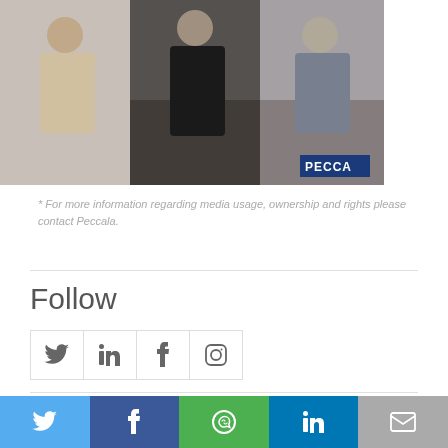[Figure (photo): Three people sitting together, partially visible from waist down, with a 'PECCA' badge in the bottom right corner of the photo]
* For more information regarding media usage, ownership and rights please contact Peccala.
Follow
[Figure (infographic): Social media follow icons: Twitter, LinkedIn, Facebook, Instagram]
Additional PR Formats
[Figure (infographic): Bottom share bar with Twitter, Facebook, WhatsApp, LinkedIn, and Email icons]